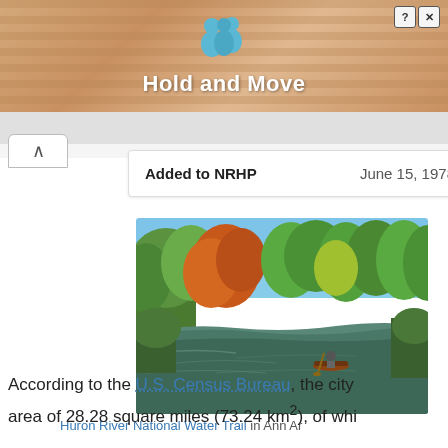[Figure (screenshot): Advertisement banner with sandy/tan striped background, two blue figures icon, and text 'Hold and Move'. Has close buttons (? and X) in top right corner.]
| Added to NRHP | June 15, 1978 |
| --- | --- |
[Figure (photo): Photo of the Huron River National Water Trail in Ann Arbor, showing a river with a canoe, surrounded by autumn foliage trees under a blue sky.]
Huron River National Water Trail in Ann Ar
According to the U.S. Census Bureau, the city
area of 28.28 square miles (73.24 km²), of whi